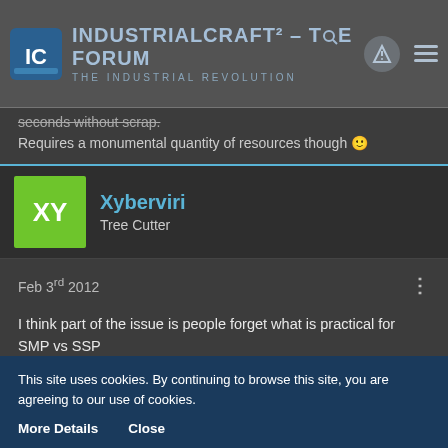IndustrialCraft² - The Forum – The Industrial Revolution
seconds without scrap.
Requires a monumental quantity of resources though 🙂
Xyberviri
Tree Cutter
Feb 3rd 2012
I think part of the issue is people forget what is practical for SMP vs SSP

What ever the balance between A and B is valid if we all had cray super computers to run minecraft servers on.
This site uses cookies. By continuing to browse this site, you are agreeing to our use of cookies.
More Details   Close